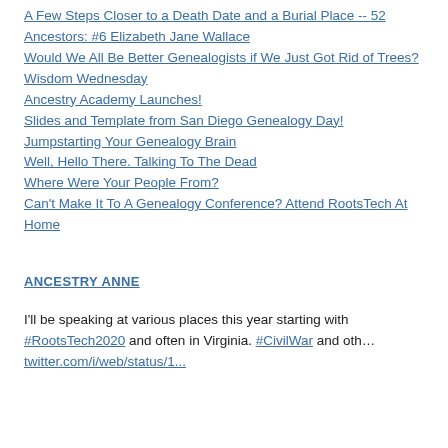A Few Steps Closer to a Death Date and a Burial Place -- 52
Ancestors: #6 Elizabeth Jane Wallace
Would We All Be Better Genealogists if We Just Got Rid of Trees?
Wisdom Wednesday
Ancestry Academy Launches!
Slides and Template from San Diego Genealogy Day!
Jumpstarting Your Genealogy Brain
Well, Hello There. Talking To The Dead
Where Were Your People From?
Can't Make It To A Genealogy Conference? Attend RootsTech At Home
ANCESTRY ANNE
I'll be speaking at various places this year starting with #RootsTech2020 and often in Virginia. #CivilWar and oth… twitter.com/i/web/status/1...